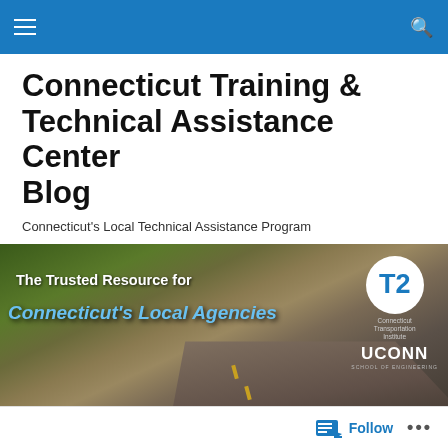Connecticut Training & Technical Assistance Center Blog
Connecticut Training & Technical Assistance Center Blog
Connecticut's Local Technical Assistance Program
[Figure (photo): Banner image showing a road through autumn trees with text 'The Trusted Resource for Connecticut's Local Agencies' and T2 / UConn Transportation Institute logo]
MONTHLY ARCHIVES: SEPTEMBER 2010
Follow